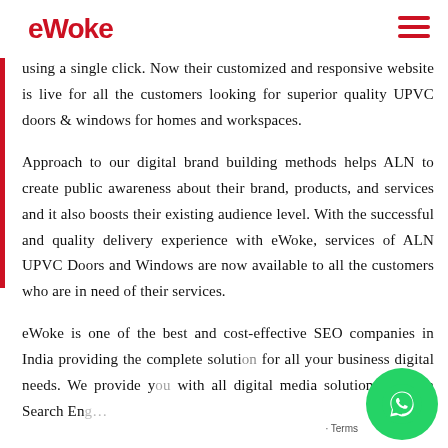eWoke
management system – WordPress. By developing an easy-access and user-friendly website, the user can access all their services using a single click. Now their customized and responsive website is live for all the customers looking for superior quality UPVC doors & windows for homes and workspaces.
Approach to our digital brand building methods helps ALN to create public awareness about their brand, products, and services and it also boosts their existing audience level. With the successful and quality delivery experience with eWoke, services of ALN UPVC Doors and Windows are now available to all the customers who are in need of their services.
eWoke is one of the best and cost-effective SEO companies in India providing the complete solution for all your business digital needs. We provide you with all digital media solutions through Search En…